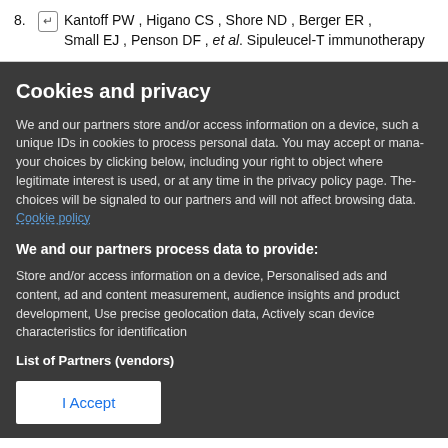8. ↵ Kantoff PW, Higano CS, Shore ND, Berger ER, Small EJ, Penson DF, et al. Sipuleucel-T immunotherapy
Cookies and privacy
We and our partners store and/or access information on a device, such a unique IDs in cookies to process personal data. You may accept or manage your choices by clicking below, including your right to object where legitimate interest is used, or at any time in the privacy policy page. These choices will be signaled to our partners and will not affect browsing data. Cookie policy
We and our partners process data to provide:
Store and/or access information on a device, Personalised ads and content, ad and content measurement, audience insights and product development, Use precise geolocation data, Actively scan device characteristics for identification
List of Partners (vendors)
I Accept